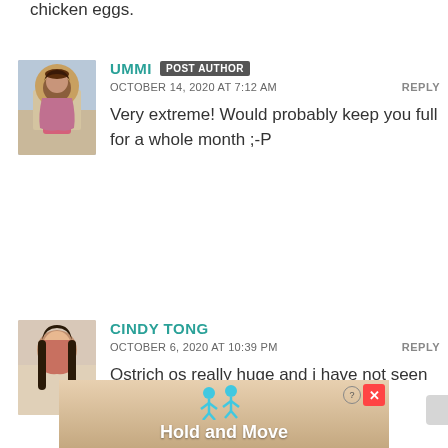chicken eggs.
UMMI POST AUTHOR
OCTOBER 14, 2020 AT 7:12 AM
REPLY
Very extreme! Would probably keep you full for a whole month ;-P
CINDY TONG
OCTOBER 6, 2020 AT 10:39 PM
REPLY
Ostrich os really huge and i have not seen them in person yet but seem like u
[Figure (screenshot): Hold and Move app advertisement banner at the bottom of the page]